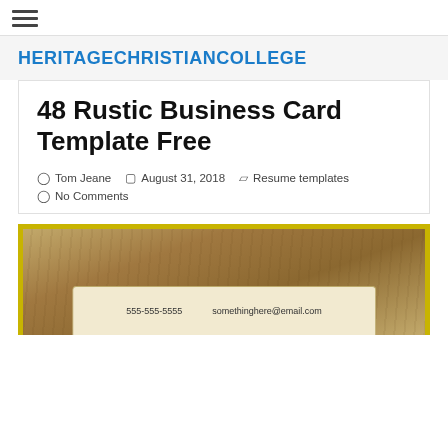≡
HERITAGECHRISTIANCOLLEGE
48 Rustic Business Card Template Free
Tom Jeane  August 31, 2018  Resume templates  No Comments
[Figure (photo): A rustic business card on a wooden background showing contact details: 555-555-5555 and somethinghere@email.com]